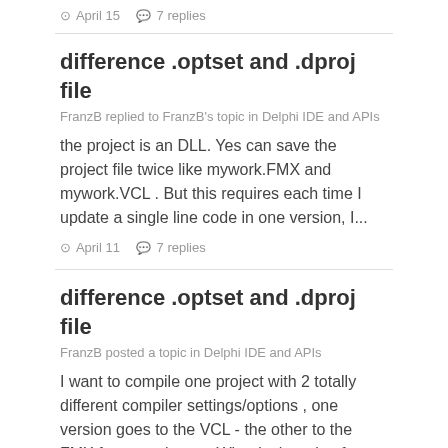April 15   7 replies
difference .optset and .dproj file
FranzB replied to FranzB's topic in Delphi IDE and APIs
the project is an DLL. Yes can save the project file twice like mywork.FMX and mywork.VCL . But this requires each time I update a single line code in one version, I...
April 11   7 replies
difference .optset and .dproj file
FranzB posted a topic in Delphi IDE and APIs
I want to compile one project with 2 totally different compiler settings/options , one version goes to the VCL - the other to the FMX framework etc... What is the role of...
April 10   7 replies